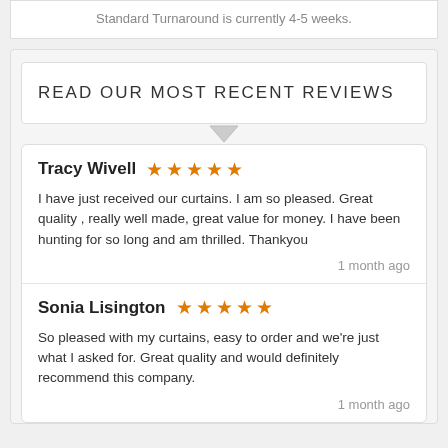Standard Turnaround is currently 4-5 weeks.
READ OUR MOST RECENT REVIEWS
Tracy Wivell ★★★★★
I have just received our curtains. I am so pleased. Great quality , really well made, great value for money. I have been hunting for so long and am thrilled. Thankyou
1 month ago
Sonia Lisington ★★★★★
So pleased with my curtains, easy to order and we're just what I asked for. Great quality and would definitely recommend this company.
1 month ago